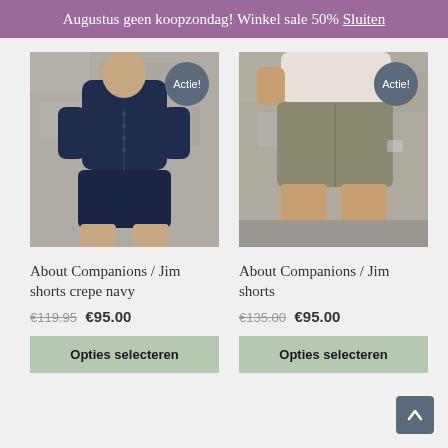Augustus geen koopzondag! Winkel sale 50% Sluiten
[Figure (photo): Man wearing navy blue short-sleeve button shirt and navy shorts, standing against a stone wall. Badge saying 'Actie!' in upper right corner.]
About Companions / Jim shorts crepe navy
€119.95 €95.00
Opties selecteren
[Figure (photo): Man wearing khaki/grey shorts standing against a stone wall, torso cropped. Badge saying 'Actie!' in upper right corner.]
About Companions / Jim shorts
€135.00 €95.00
Opties selecteren